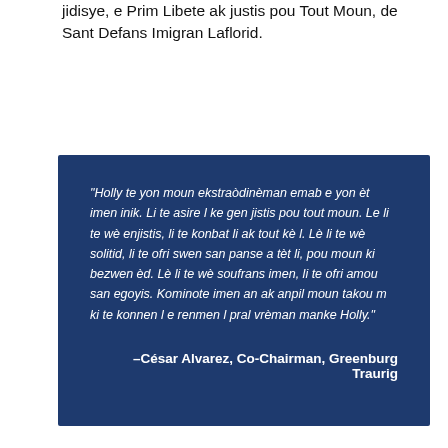jidisye, e Prim Libete ak justis pou Tout Moun, de Sant Defans Imigran Laflorid.
“Holly te yon moun ekstraòdinèman emab e yon èt imen inik. Li te asire l ke gen jistis pou tout moun. Le li te wè enjistis, li te konbat li ak tout kè l. Lè li te wè solitid, li te ofri swen san panse a tèt li, pou moun ki bezwen èd. Lè li te wè soufrans imen, li te ofri amou san egoyis. Kominote imen an ak anpil moun takou m ki te konnen l e renmen l pral vrèman manke Holly.”
–César Alvarez, Co-Chairman, Greenburg Traurig